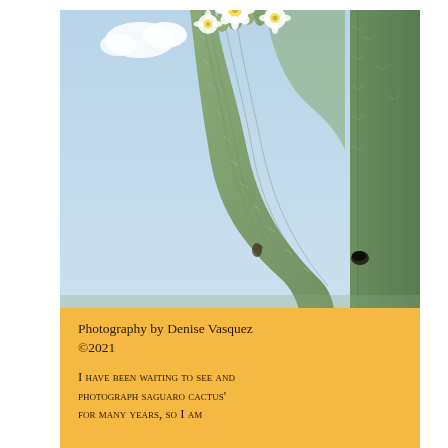[Figure (photo): Close-up photograph of a saguaro cactus with white flowers blooming at the top and a drooping arm, set against a light blue sky with a small white cloud.]
Photography by Denise Vasquez ©2021
I have been waiting to see and photograph saguaro cactus' for many years, so I am